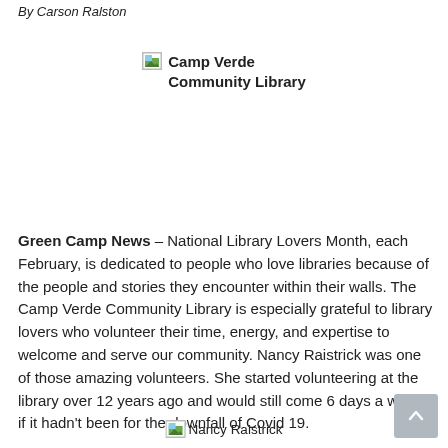By Carson Ralston
[Figure (photo): Camp Verde Community Library image placeholder with broken image icon]
Camp Verde Community Library
Green Camp News – National Library Lovers Month, each February, is dedicated to people who love libraries because of the people and stories they encounter within their walls. The Camp Verde Community Library is especially grateful to library lovers who volunteer their time, energy, and expertise to welcome and serve our community. Nancy Raistrick was one of those amazing volunteers. She started volunteering at the library over 12 years ago and would still come 6 days a week if it hadn't been for the downfall of Covid 19.
[Figure (photo): Nancy Raistrick image placeholder]